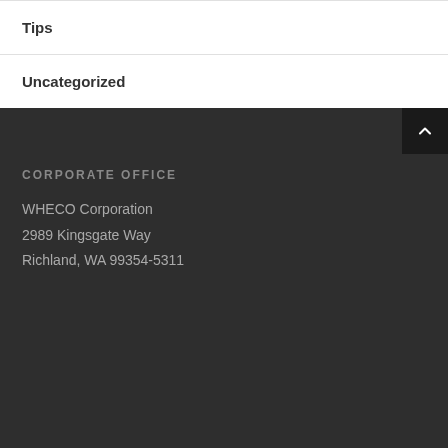Tips
Uncategorized
CORPORATE OFFICE
WHECO Corporation
2989 Kingsgate Way
Richland, WA 99354-5311